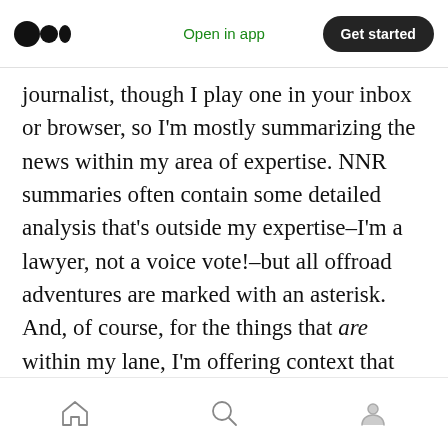Open in app | Get started
journalist, though I play one in your inbox or browser, so I'm mostly summarizing the news within my area of expertise. NNR summaries often contain some detailed analysis that's outside my expertise–I'm a lawyer, not a voice vote!–but all offroad adventures are marked with an asterisk. And, of course, for the things that are within my lane, I'm offering context that shouldn't be considered legal advice. Okay, I think that's about it for the disclaimers. Onward to the news!
Home | Search | Profile